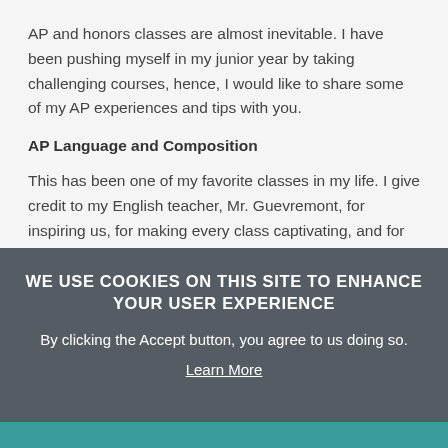AP and honors classes are almost inevitable. I have been pushing myself in my junior year by taking challenging courses, hence, I would like to share some of my AP experiences and tips with you.
AP Language and Composition
This has been one of my favorite classes in my life. I give credit to my English teacher, Mr. Guevremont, for inspiring us, for making every class captivating, and for always giving me something fun to look forward to at school. His creativity and intellect provided an enjoyable atmosphere of learning, and we acquired rhetoric strategies, logical fallacies, and other writing
WE USE COOKIES ON THIS SITE TO ENHANCE YOUR USER EXPERIENCE
By clicking the Accept button, you agree to us doing so.
Learn More